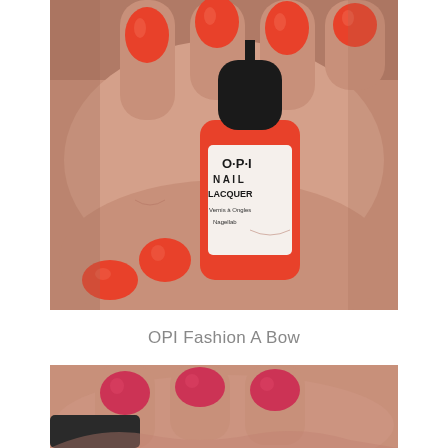[Figure (photo): Close-up photo of a hand holding an OPI Nail Lacquer bottle in coral/red-orange color, with nails painted the same coral-red shade. The bottle label reads O·P·I NAIL LACQUER, Vernis à Ongles, Nagellab.]
OPI Fashion A Bow
[Figure (photo): Close-up photo of a hand with nails painted in a deep coral/pink-red shade, partially visible at the bottom of the page.]